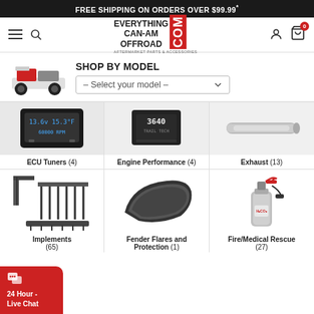FREE SHIPPING ON ORDERS OVER $99.99*
[Figure (logo): Everything Can-Am Offroad .com logo with hamburger menu, search icon, user icon, and cart icon]
SHOP BY MODEL
[Figure (photo): Can-Am side-by-side UTV vehicle]
– Select your model –
[Figure (photo): ECU Tuner device close-up]
ECU Tuners (4)
[Figure (photo): Engine Performance device (Trail Tech)]
Engine Performance (4)
[Figure (photo): Exhaust pipe product]
Exhaust (13)
[Figure (photo): Farm implements / attachments product]
Implements (65)
[Figure (photo): Fender flares / plastic protection piece]
Fender Flares and Protection (1)
[Figure (photo): Fire extinguisher / fire medical rescue product]
Fire/Medical Rescue (27)
24 Hour - Live Chat